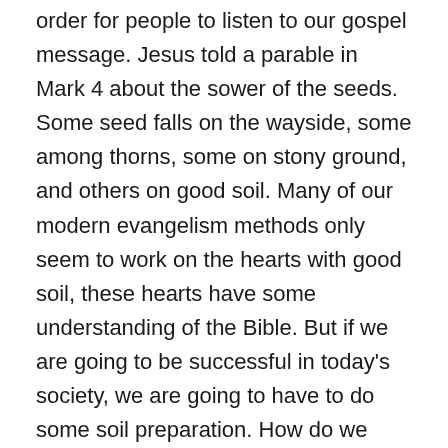order for people to listen to our gospel message. Jesus told a parable in Mark 4 about the sower of the seeds. Some seed falls on the wayside, some among thorns, some on stony ground, and others on good soil. Many of our modern evangelism methods only seem to work on the hearts with good soil, these hearts have some understanding of the Bible. But if we are going to be successful in today's society, we are going to have to do some soil preparation. How do we break up this soil to prepare a heart for evangelism?  According to the preachers of revival there are two ways to break up the fallow ground of gospel hardened people. One is through united prayer and the other is the preaching of the 10 commandments. The people who are praying for revival must first break up their own fallow ground before they can pray to break up the fallow ground of the lost. After there